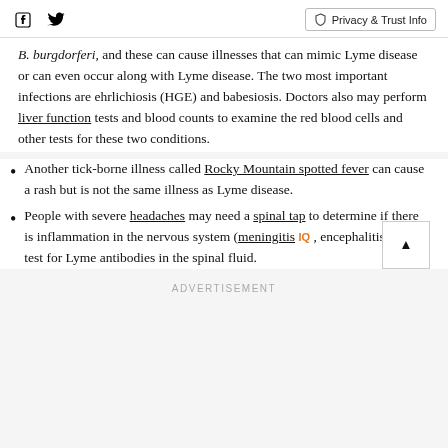Facebook Twitter | Privacy & Trust Info
B. burgdorferi, and these can cause illnesses that can mimic Lyme disease or can even occur along with Lyme disease. The two most important infections are ehrlichiosis (HGE) and babesiosis. Doctors also may perform liver function tests and blood counts to examine the red blood cells and other tests for these two conditions.
Another tick-borne illness called Rocky Mountain spotted fever can cause a rash but is not the same illness as Lyme disease.
People with severe headaches may need a spinal tap to determine if there is inflammation in the nervous system (meningitis IQ , encephalitis) and to test for Lyme antibodies in the spinal fluid.
ADVERTISEMENT